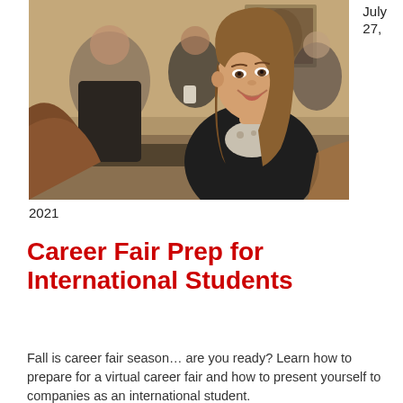[Figure (photo): Students at a networking event or career fair; a smiling young woman with long hair in the foreground, others seated in the background in what appears to be a professional or campus setting.]
July 27,
2021
Career Fair Prep for International Students
Fall is career fair season… are you ready? Learn how to prepare for a virtual career fair and how to present yourself to companies as an international student.